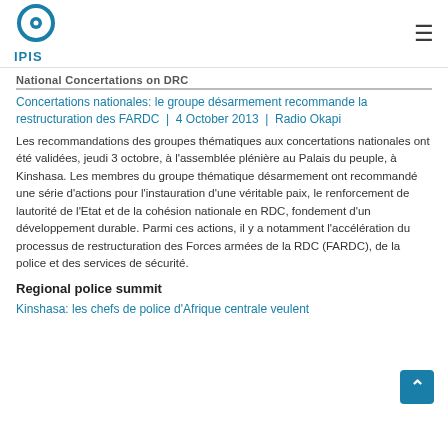[Figure (logo): IPIS logo: circular icon with blue ring and dot, with IPIS text below in blue]
National Concertations on DRC
Concertations nationales: le groupe désarmement recommande la restructuration des FARDC  |  4 October 2013  |  Radio Okapi
Les recommandations des groupes thématiques aux concertations nationales ont été validées, jeudi 3 octobre, à l'assemblée plénière au Palais du peuple, à Kinshasa. Les membres du groupe thématique désarmement ont recommandé une série d'actions pour l'instauration d'une véritable paix, le renforcement de lautorité de l'Etat et de la cohésion nationale en RDC, fondement d'un développement durable. Parmi ces actions, il y a notamment l'accélération du processus de restructuration des Forces armées de la RDC (FARDC), de la police et des services de sécurité.
Regional police summit
Kinshasa: les chefs de police d'Afrique centrale veulent